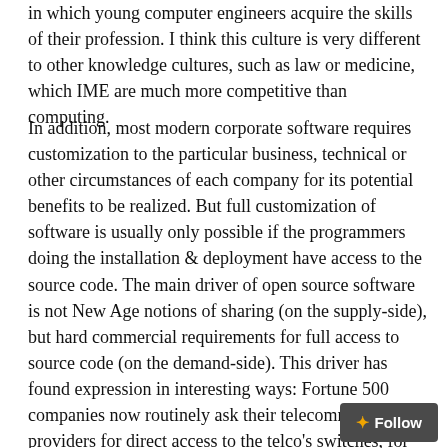in which young computer engineers acquire the skills of their profession. I think this culture is very different to other knowledge cultures, such as law or medicine, which IME are much more competitive than computing.
In addition, most modern corporate software requires customization to the particular business, technical or other circumstances of each company for its potential benefits to be realized. But full customization of software is usually only possible if the programmers doing the installation & deployment have access to the source code. The main driver of open source software is not New Age notions of sharing (on the supply-side), but hard commercial requirements for full access to source code (on the demand-side). This driver has found expression in interesting ways: Fortune 500 companies now routinely ask their telecommunications providers for direct access to the telco's switches, for instance (to enable faster provision of changing requirements).